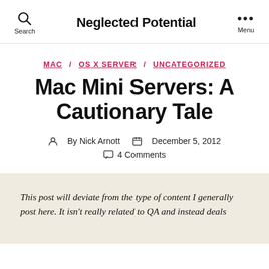Neglected Potential
MAC / OS X SERVER / UNCATEGORIZED
Mac Mini Servers: A Cautionary Tale
By Nick Arnott  December 5, 2012
4 Comments
This post will deviate from the type of content I generally post here. It isn't really related to QA and instead deals